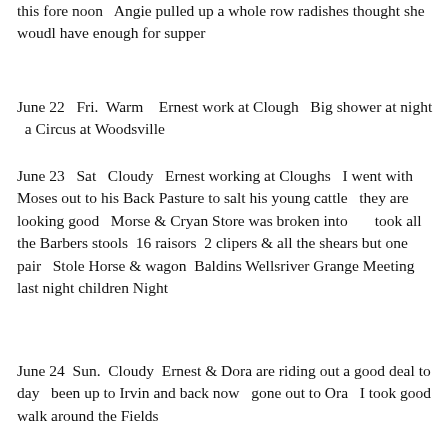this fore noon   Angie pulled up a whole row radishes thought she woudl have enough for supper
June 22   Fri.  Warm   Ernest work at Clough   Big shower at night   a Circus at Woodsville
June 23   Sat   Cloudy   Ernest working at Cloughs   I went with Moses out to his Back Pasture to salt his young cattle   they are looking good   Morse & Cryan Store was broken into      took all the Barbers stools  16 raisors  2 clipers & all the shears but one pair   Stole Horse & wagon  Baldins Wellsriver Grange Meeting last night children Night
June 24  Sun.  Cloudy  Ernest & Dora are riding out a good deal to day   been up to Irvin and back now   gone out to Ora   I took good walk around the Fields